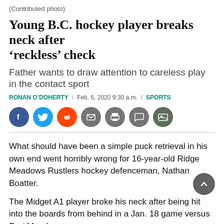(Contributed photo)
Young B.C. hockey player breaks neck after ‘reckless’ check
Father wants to draw attention to careless play in the contact sport
RONAN O’DOHERTY / Feb. 6, 2020 9:30 a.m. / SPORTS
[Figure (other): Social sharing buttons: Facebook, Twitter, Reddit, Email, Print, Comment, Photo]
What should have been a simple puck retrieval in his own end went horribly wrong for 16-year-old Ridge Meadows Rustlers hockey defenceman, Nathan Boatter.
The Midget A1 player broke his neck after being hit into the boards from behind in a Jan. 18 game versus Port Moody.